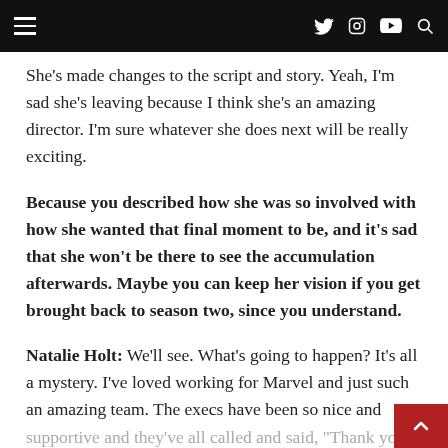Navigation bar with hamburger menu, Twitter, Instagram, YouTube, and Search icons
She’s made changes to the script and story. Yeah, I’m sad she’s leaving because I think she’s an amazing director. I’m sure whatever she does next will be really exciting.
Because you described how she was so involved with how she wanted that final moment to be, and it’s sad that she won’t be there to see the accumulation afterwards. Maybe you can keep her vision if you get brought back to season two, since you understand.
Natalie Holt: We’ll see. What’s going to happen? It’s all a mystery. I’ve loved working for Marvel and just such an amazing team. The execs have been so nice and supportive and they’ve all called and said, “Thank you.” They’re a lovely, lovely bunch to work for.